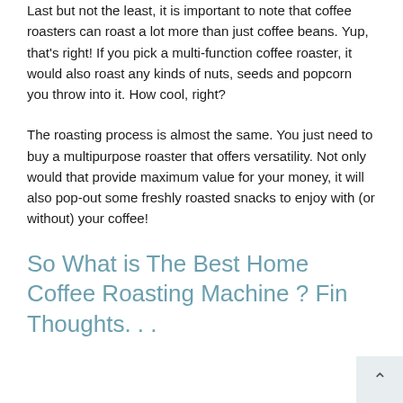Last but not the least, it is important to note that coffee roasters can roast a lot more than just coffee beans. Yup, that's right! If you pick a multi-function coffee roaster, it would also roast any kinds of nuts, seeds and popcorn you throw into it. How cool, right?
The roasting process is almost the same. You just need to buy a multipurpose roaster that offers versatility. Not only would that provide maximum value for your money, it will also pop-out some freshly roasted snacks to enjoy with (or without) your coffee!
So What is The Best Home Coffee Roasting Machine ? Final Thoughts. . .